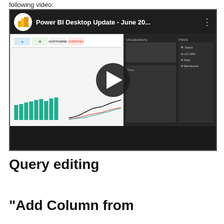following video:
[Figure (screenshot): YouTube video thumbnail showing Power BI Desktop Update - June 20... with a Power BI dashboard screenshot and a play button overlay]
Query editing
"Add Column from